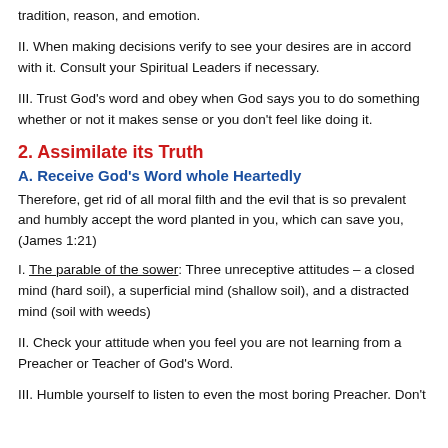tradition, reason, and emotion.
II. When making decisions verify to see your desires are in accord with it. Consult your Spiritual Leaders if necessary.
III. Trust God's word and obey when God says you to do something whether or not it makes sense or you don't feel like doing it.
2. Assimilate its Truth
A. Receive God's Word whole Heartedly
Therefore, get rid of all moral filth and the evil that is so prevalent and humbly accept the word planted in you, which can save you, (James 1:21)
I. The parable of the sower: Three unreceptive attitudes – a closed mind (hard soil), a superficial mind (shallow soil), and a distracted mind (soil with weeds)
II. Check your attitude when you feel you are not learning from a Preacher or Teacher of God's Word.
III. Humble yourself to listen to even the most boring Preacher. Don't